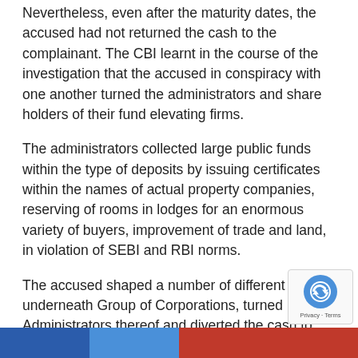Nevertheless, even after the maturity dates, the accused had not returned the cash to the complainant. The CBI learnt in the course of the investigation that the accused in conspiracy with one another turned the administrators and share holders of their fund elevating firms.
The administrators collected large public funds within the type of deposits by issuing certificates within the names of actual property companies, reserving of rooms in lodges for an enormous variety of buyers, improvement of trade and land, in violation of SEBI and RBI norms.
The accused shaped a number of different firms underneath Group of Corporations, turned Administrators thereof and diverted the cash to the opposite Group of Corporations understanding these firms had been loss making entities. They